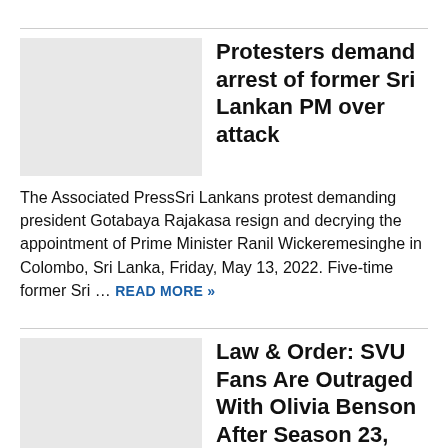Protesters demand arrest of former Sri Lankan PM over attack
The Associated PressSri Lankans protest demanding president Gotabaya Rajakasa resign and decrying the appointment of Prime Minister Ranil Wickeremesinghe in Colombo, Sri Lanka, Friday, May 13, 2022. Five-time former Sri ... READ MORE »
Law & Order: SVU Fans Are Outraged With Olivia Benson After Season 23, Episode 21
Michael Greenberg/NBC Since the series debuted